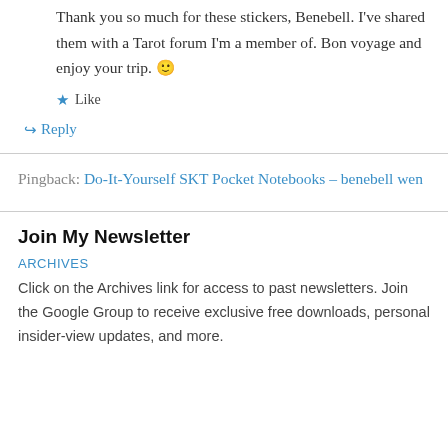Thank you so much for these stickers, Benebell. I've shared them with a Tarot forum I'm a member of. Bon voyage and enjoy your trip. 🙂
★ Like
↪ Reply
Pingback: Do-It-Yourself SKT Pocket Notebooks – benebell wen
Join My Newsletter
ARCHIVES
Click on the Archives link for access to past newsletters. Join the Google Group to receive exclusive free downloads, personal insider-view updates, and more.